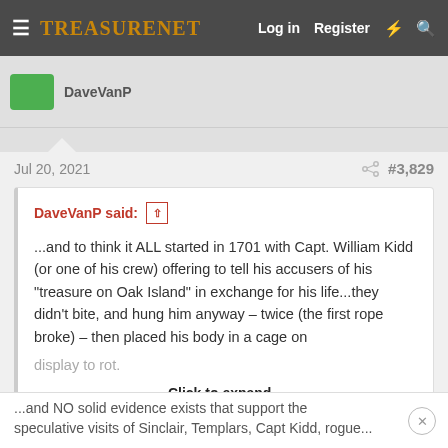TreasureNet  Log in  Register
DaveVanP said:
Jul 20, 2021    #3,829
...and to think it ALL started in 1701 with Capt. William Kidd (or one of his crew) offering to tell his accusers of his "treasure on Oak Island" in exchange for his life...they didn't bite, and hung him anyway - twice (the first rope broke) - then placed his body in a cage on display to rot.
Click to expand...
...and NO solid evidence exists that support the speculative visits of Sinclair, Templars, Capt Kidd, rogue...